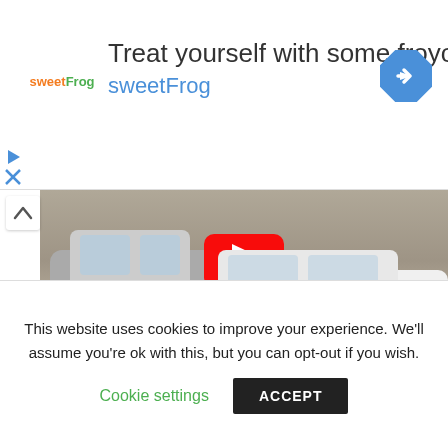[Figure (screenshot): sweetFrog frozen yogurt advertisement banner with logo, text 'Treat yourself with some froyo', 'sweetFrog', and a blue navigation/directions diamond icon]
[Figure (screenshot): YouTube video thumbnail showing two cars in a parking lot - a silver car on the left and a white Jaguar F-Type with license plate OY19 MKU on the right, with a red YouTube play button overlay. Below is a black video controls bar.]
[Figure (screenshot): Three social share buttons: FACEBOOK (blue), TWEET (light blue), GOOGLE+ (red), with two colored share count bars below]
This website uses cookies to improve your experience. We'll assume you're ok with this, but you can opt-out if you wish.
Cookie settings   ACCEPT